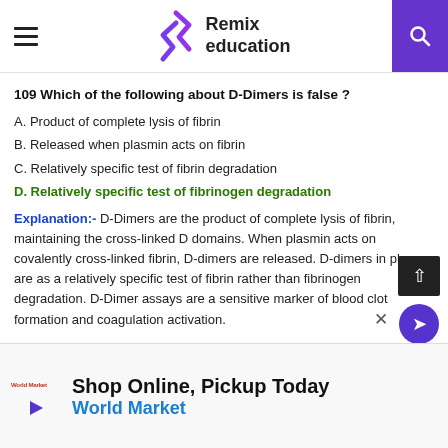Remix education
109 Which of the following about D-Dimers is false ?
A. Product of complete lysis of fibrin
B. Released when plasmin acts on fibrin
C. Relatively specific test of fibrin degradation
D. Relatively specific test of fibrinogen degradation
Explanation:- D-Dimers are the product of complete lysis of fibrin, maintaining the cross-linked D domains. When plasmin acts on covalently cross-linked fibrin, D-dimers are released. D-dimers in plasma are as a relatively specific test of fibrin rather than fibrinogen degradation. D-Dimer assays are a sensitive marker of blood clot formation and coagulation activation.
[Figure (infographic): Advertisement banner for World Market: Shop Online, Pickup Today]